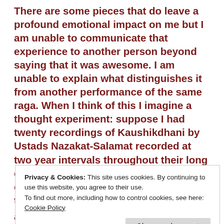There are some pieces that do leave a profound emotional impact on me but I am unable to communicate that experience to another person beyond saying that it was awesome. I am unable to explain what distinguishes it from another performance of the same raga. When I think of this I imagine a thought experiment: suppose I had twenty recordings of Kaushikdhani by Ustads Nazakat-Salamat recorded at two year intervals throughout their long career. How would I describe how their exposition changed and developed as they matured and
Privacy & Cookies: This site uses cookies. By continuing to use this website, you agree to their use.
To find out more, including how to control cookies, see here: Cookie Policy
about it than about music. If I think of a